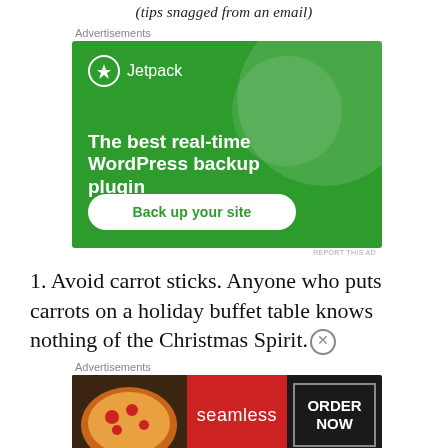(tips snagged from an email)
Advertisements
[Figure (illustration): Jetpack advertisement: green background with large circle graphic, Jetpack logo and name top-left, headline 'The best real-time WordPress backup plugin', white rounded button 'Back up your site']
REPORT THIS AD
1. Avoid carrot sticks. Anyone who puts carrots on a holiday buffet table knows nothing of the Christmas Spirit.
Advertisements
[Figure (illustration): Seamless advertisement: dark background with pizza image on left, red Seamless logo in center, ORDER NOW button on right]